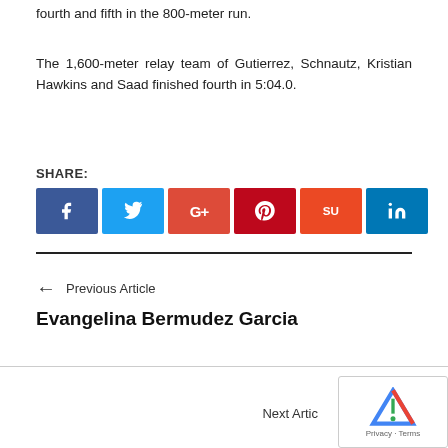fourth and fifth in the 800-meter run.
The 1,600-meter relay team of Gutierrez, Schnautz, Kristian Hawkins and Saad finished fourth in 5:04.0.
SHARE:
[Figure (infographic): Social share buttons: Facebook (blue), Twitter (light blue), Google+ (red), Pinterest (dark red), StumbleUpon (orange-red), LinkedIn (blue)]
← Previous Article
Evangelina Bermudez Garcia
Next Artic…